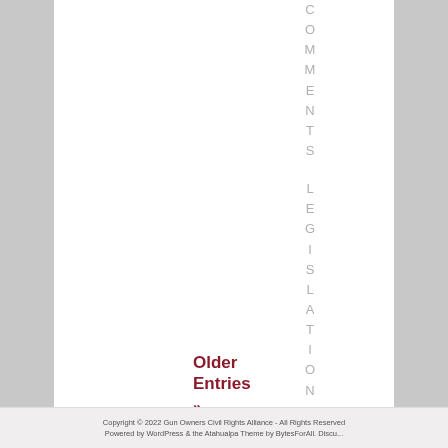COMMENTS LEGISLATION
Older Entries »
Copyright © 2022 Gun Owners Civil Rights Alliance - All Rights Reserved
Powered by WordPress & the Atahualpa Theme by BytesForAll. Discuss